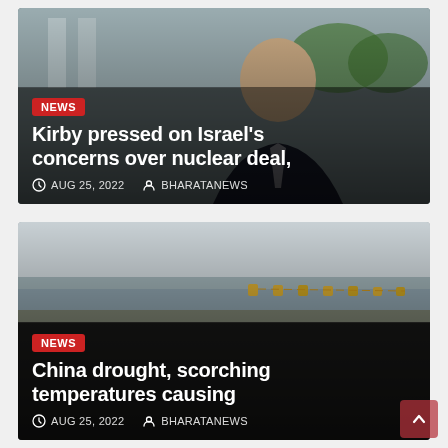[Figure (photo): News article card 1: Man in dark suit with photo background of white building columns and greenery. Overlay with NEWS badge, headline about Kirby and Israel nuclear deal, date and author.]
[Figure (photo): News article card 2: Waterway/river with yellow buoys/barriers visible, dry landscape, overcast sky. Overlay with NEWS badge, headline about China drought and scorching temperatures, date and author.]